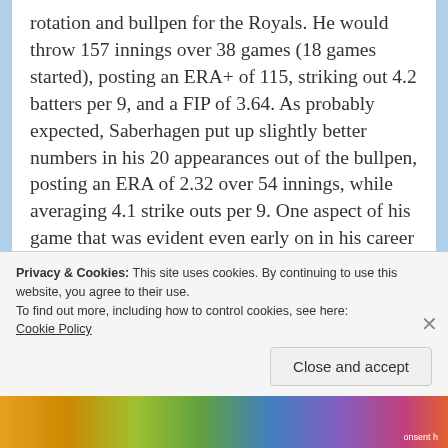rotation and bullpen for the Royals. He would throw 157 innings over 38 games (18 games started), posting an ERA+ of 115, striking out 4.2 batters per 9, and a FIP of 3.64. As probably expected, Saberhagen put up slightly better numbers in his 20 appearances out of the bullpen, posting an ERA of 2.32 over 54 innings, while averaging 4.1 strike outs per 9. One aspect of his game that was evident even early on in his career was how Sabs was good about trusting his defense and making pitches for the batter to put in play. Spanning his career, Bret's ball in play percentage was on average anywhere from mid 70% to upper 70%; during
Privacy & Cookies: This site uses cookies. By continuing to use this website, you agree to their use.
To find out more, including how to control cookies, see here: Cookie Policy
Close and accept